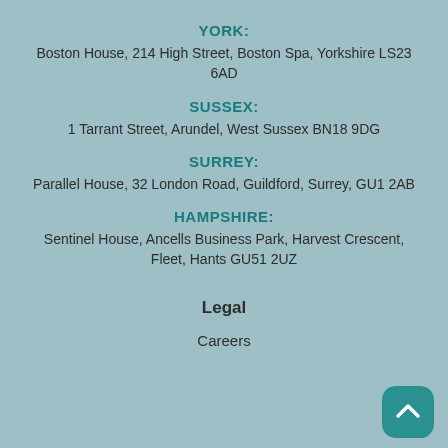YORK:
Boston House, 214 High Street, Boston Spa, Yorkshire LS23 6AD
SUSSEX:
1 Tarrant Street, Arundel, West Sussex BN18 9DG
SURREY:
Parallel House, 32 London Road, Guildford, Surrey, GU1 2AB
HAMPSHIRE:
Sentinel House, Ancells Business Park, Harvest Crescent, Fleet, Hants GU51 2UZ
Legal
Careers